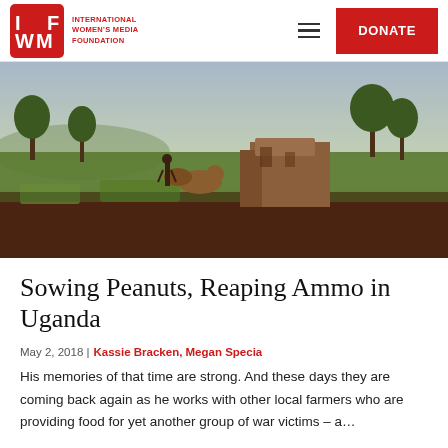INTERNATIONAL WOMEN'S MEDIA FOUNDATION | DONATE
[Figure (photo): Wide landscape photo of rural Uganda showing a person walking with cattle across a field with sparse trees and a ruined brick structure in the background under a cloudy sky.]
Sowing Peanuts, Reaping Ammo in Uganda
May 2, 2018 | Kassie Bracken, Megan Specia
His memories of that time are strong. And these days they are coming back again as he works with other local farmers who are providing food for yet another group of war victims – a…